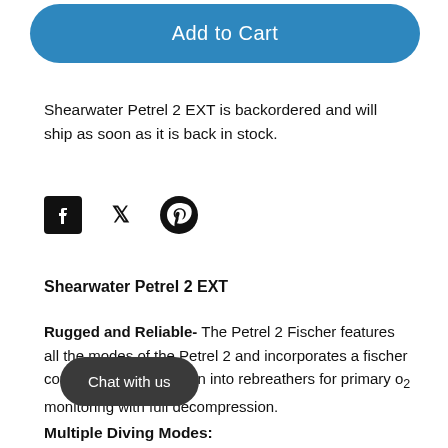[Figure (other): Add to Cart button — blue rounded rectangle with white text]
Shearwater Petrel 2 EXT is backordered and will ship as soon as it is back in stock.
[Figure (other): Social media share icons: Facebook, Twitter, Pinterest]
Shearwater Petrel 2 EXT
Rugged and Reliable- The Petrel 2 Fischer features all the modes of the Petrel 2 and incorporates a fischer connector for integration into rebreathers for primary o[2] monitoring with full decompression.
[Figure (other): Chat with us button overlay — dark rounded pill]
Multiple Diving Modes: